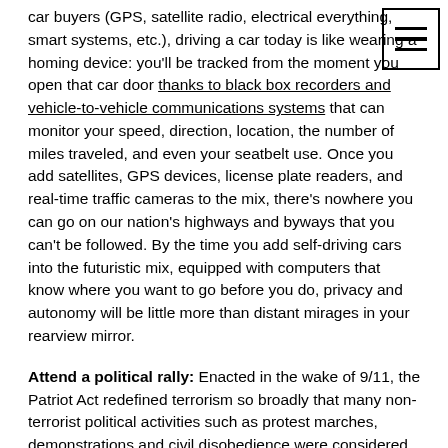car buyers (GPS, satellite radio, electrical everything, smart systems, etc.), driving a car today is like wearing a homing device: you'll be tracked from the moment you open that car door thanks to black box recorders and vehicle-to-vehicle communications systems that can monitor your speed, direction, location, the number of miles traveled, and even your seatbelt use. Once you add satellites, GPS devices, license plate readers, and real-time traffic cameras to the mix, there's nowhere you can go on our nation's highways and byways that you can't be followed. By the time you add self-driving cars into the futuristic mix, equipped with computers that know where you want to go before you do, privacy and autonomy will be little more than distant mirages in your rearview mirror.
Attend a political rally: Enacted in the wake of 9/11, the Patriot Act redefined terrorism so broadly that many non-terrorist political activities such as protest marches, demonstrations and civil disobedience were considered potential terrorist acts, thereby rendering anyone desiring to engage in protected First Amendment expressive activities as suspects of the surveillance state.